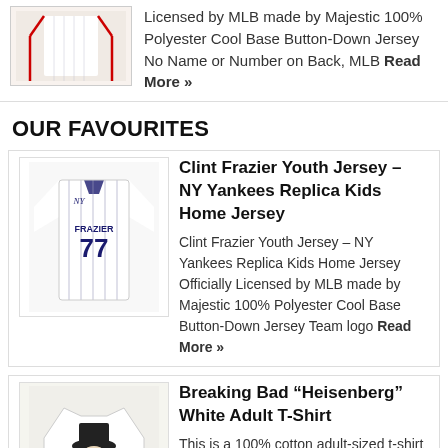Licensed by MLB made by Majestic 100% Polyester Cool Base Button-Down Jersey No Name or Number on Back, MLB Read More »
OUR FAVOURITES
[Figure (photo): Clint Frazier #77 NY Yankees white pinstripe youth replica jersey]
Clint Frazier Youth Jersey – NY Yankees Replica Kids Home Jersey Clint Frazier Youth Jersey – NY Yankees Replica Kids Home Jersey Officially Licensed by MLB made by Majestic 100% Polyester Cool Base Button-Down Jersey Team logo Read More »
[Figure (photo): Breaking Bad Heisenberg white adult t-shirt with Heisenberg graphic]
Breaking Bad "Heisenberg" White Adult T-Shirt This is a 100% cotton adult-sized t-shirt featuring a cool design of Walter White / Heisenberg from AMC's Breaking Bad. This design is based off of Read More »
[Figure (photo): I'd Bone You Condom product with skeleton illustration on black background]
I'd Bone You Condom I'd Bone You Condom. This gimmicky, real condom is a great way to surprise a friend, loved one, or fool around friend.